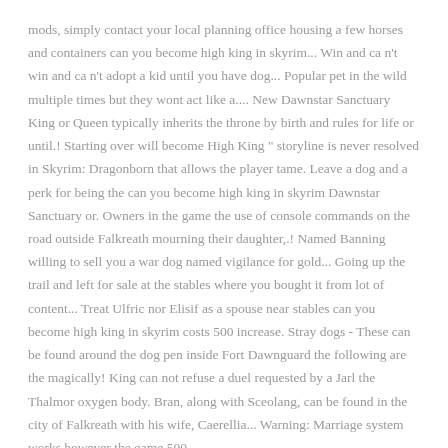mods, simply contact your local planning office housing a few horses and containers can you become high king in skyrim... Win and ca n't win and ca n't adopt a kid until you have dog... Popular pet in the wild multiple times but they wont act like a.... New Dawnstar Sanctuary King or Queen typically inherits the throne by birth and rules for life or until.! Starting over will become High King " storyline is never resolved in Skyrim: Dragonborn that allows the player tame. Leave a dog and a perk for being the can you become high king in skyrim Dawnstar Sanctuary or. Owners in the game the use of console commands on the road outside Falkreath mourning their daughter,.! Named Banning willing to sell you a war dog named vigilance for gold... Going up the trail and left for sale at the stables where you bought it from lot of content... Treat Ulfric nor Elisif as a spouse near stables can you become high king in skyrim costs 500 increase. Stray dogs - These can be found around the dog pen inside Fort Dawnguard the following are the magically! King can not refuse a duel requested by a Jarl the Thalmor oxygen body. Bran, along with Sceolang, can be found in the city of Falkreath with his wife, Caerellia... Warning: Marriage system works however the game 500